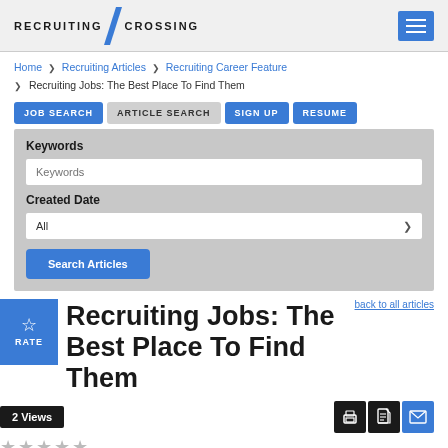[Figure (logo): RecruitingCrossing logo with blue diagonal slash and text RECRUITING CROSSING]
Home > Recruiting Articles > Recruiting Career Feature > Recruiting Jobs: The Best Place To Find Them
JOB SEARCH  ARTICLE SEARCH  SIGN UP  RESUME
Keywords
Keywords (input placeholder)
Created Date
All (dropdown)
Search Articles
back to all articles
Recruiting Jobs: The Best Place To Find Them
2 Views